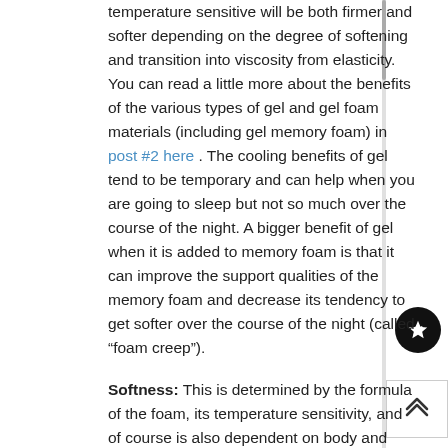temperature sensitive will be both firmer and softer depending on the degree of softening and transition into viscosity from elasticity. You can read a little more about the benefits of the various types of gel and gel foam materials (including gel memory foam) in post #2 here . The cooling benefits of gel tend to be temporary and can help when you are going to sleep but not so much over the course of the night. A bigger benefit of gel when it is added to memory foam is that it can improve the support qualities of the memory foam and decrease its tendency to get softer over the course of the night (called "foam creep").
Softness: This is determined by the formula of the foam, its temperature sensitivity, and of course is also dependent on body and external temperature, humidity, and time spent on the foam. Some foams have a range of very firm to very soft while some start off softer and never